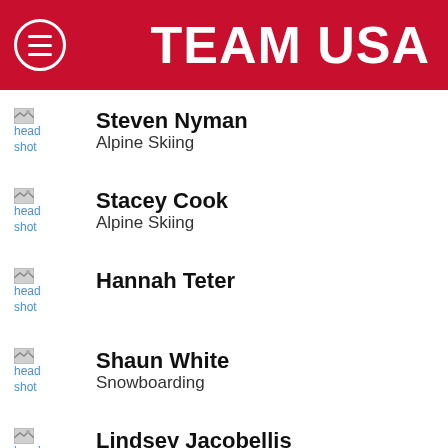TEAM USA
Steven Nyman
Alpine Skiing
Stacey Cook
Alpine Skiing
Hannah Teter
Shaun White
Snowboarding
Lindsey Jacobellis
Snowboarding